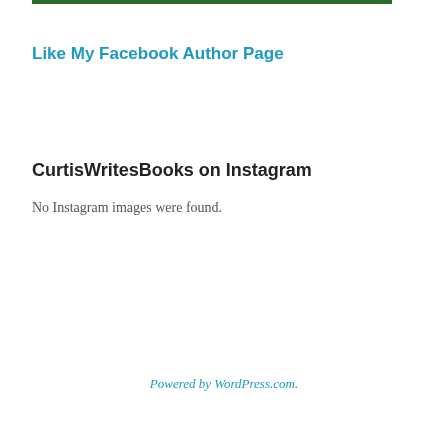Like My Facebook Author Page
CurtisWritesBooks on Instagram
No Instagram images were found.
Powered by WordPress.com.